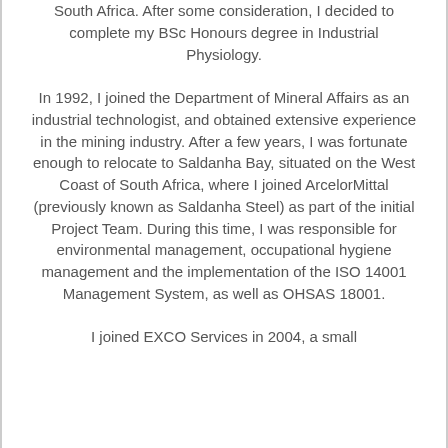South Africa. After some consideration, I decided to complete my BSc Honours degree in Industrial Physiology. In 1992, I joined the Department of Mineral Affairs as an industrial technologist, and obtained extensive experience in the mining industry. After a few years, I was fortunate enough to relocate to Saldanha Bay, situated on the West Coast of South Africa, where I joined ArcelorMittal (previously known as Saldanha Steel) as part of the initial Project Team. During this time, I was responsible for environmental management, occupational hygiene management and the implementation of the ISO 14001 Management System, as well as OHSAS 18001. I joined EXCO Services in 2004, a small